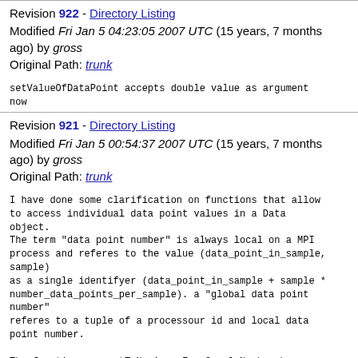Revision 922 - Directory Listing
Modified Fri Jan 5 04:23:05 2007 UTC (15 years, 7 months ago) by gross
Original Path: trunk
setValueOfDataPoint accepts double value as argument now
Revision 921 - Directory Listing
Modified Fri Jan 5 00:54:37 2007 UTC (15 years, 7 months ago) by gross
Original Path: trunk
I have done some clarification on functions that allow to access individual data point values in a Data object.
The term "data point number" is always local on a MPI process and referes to the value (data_point_in_sample, sample)
as a single identifyer (data_point_in_sample + sample * number_data_points_per_sample). a "global data point number"
referes to a tuple of a processour id and local data point number.

The function convertToNumArrayFromSampleNo has been removed now and convertToNumArrayFromDPNo renamed to